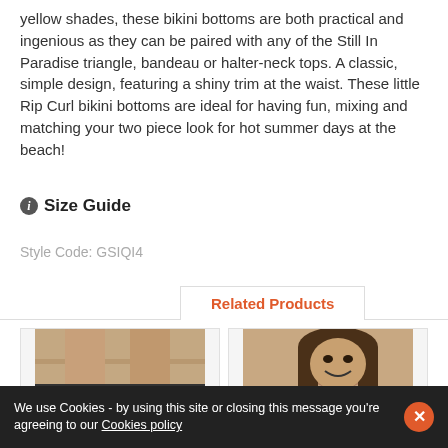yellow shades, these bikini bottoms are both practical and ingenious as they can be paired with any of the Still In Paradise triangle, bandeau or halter-neck tops. A classic, simple design, featuring a shiny trim at the waist. These little Rip Curl bikini bottoms are ideal for having fun, mixing and matching your two piece look for hot summer days at the beach!
ℹ Size Guide
Style Code: GSIQI4
Related Products
[Figure (photo): Product photo of floral bikini bottoms with dark mesh waistband]
[Figure (photo): Product photo of woman wearing floral bikini top, smiling]
We use Cookies - by using this site or closing this message you're agreeing to our Cookies policy